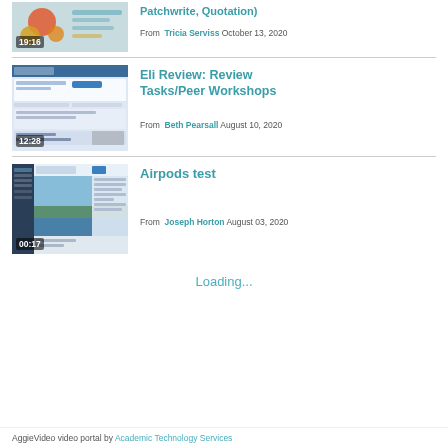[Figure (screenshot): Video thumbnail with duration 19:16 showing colorful circles and a list interface]
Eli Review: Review Tasks/Peer Workshops
From  Tricia Serviss October 13, 2020
[Figure (screenshot): Video thumbnail with duration 12:28 showing a web application interface for Eli Cover Writing]
Eli Review: Review Tasks/Peer Workshops
From  Beth Pearsall August 10, 2020
[Figure (screenshot): Video thumbnail with duration 00:17 showing a screen recording interface with an outdoor landscape]
Airpods test
From  Joseph Horton August 03, 2020
Loading...
AggieVideo video portal by Academic Technology Services